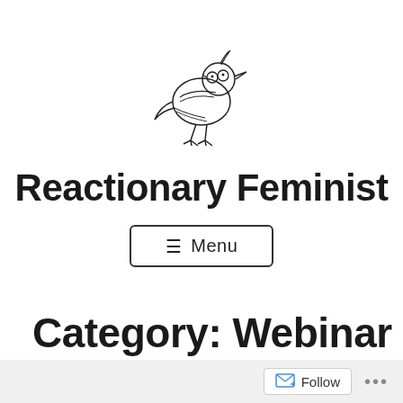[Figure (illustration): Line drawing of a small bird wearing glasses, perched on a branch, facing left. Minimalist sketch style in black ink on white background.]
Reactionary Feminist
≡ Menu
Category: Webinar
Follow ...